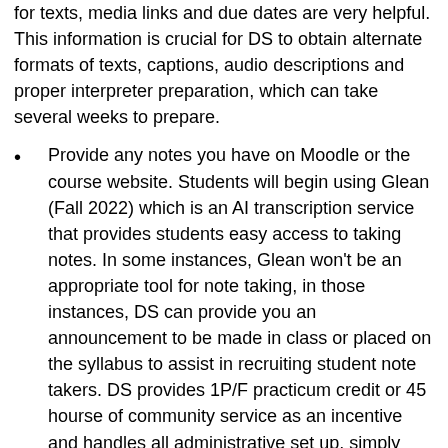for texts, media links and due dates are very helpful. This information is crucial for DS to obtain alternate formats of texts, captions, audio descriptions and proper interpreter preparation, which can take several weeks to prepare.
Provide any notes you have on Moodle or the course website. Students will begin using Glean (Fall 2022) which is an AI transcription service that provides students easy access to taking notes. In some instances, Glean won't be an appropriate tool for note taking, in those instances, DS can provide you an announcement to be made in class or placed on the syllabus to assist in recruiting student note takers. DS provides 1P/F practicum credit or 45 hourse of community service as an incentive and handles all administrative set up, simply refer interested note takers to us.
Provide 5 business days notice of any remote exams that will require the use of the Exam...